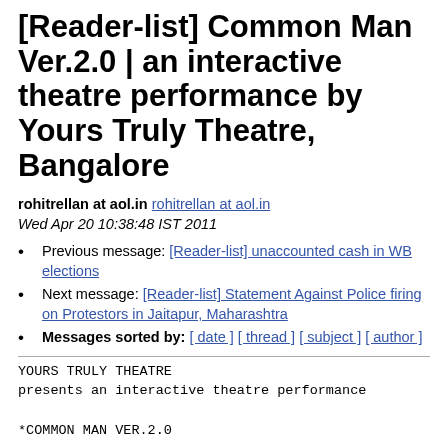[Reader-list] Common Man Ver.2.0 | an interactive theatre performance by Yours Truly Theatre, Bangalore
rohitrellan at aol.in rohitrellan at aol.in
Wed Apr 20 10:38:48 IST 2011
Previous message: [Reader-list] unaccounted cash in WB elections
Next message: [Reader-list] Statement Against Police firing on Protestors in Jaitapur, Maharashtra
Messages sorted by: [ date ] [ thread ] [ subject ] [ author ]
YOURS TRULY THEATRE
presents an interactive theatre performance

*COMMON MAN VER.2.0

In “complete the story theatre style”
where you as an audience can suggest an ending